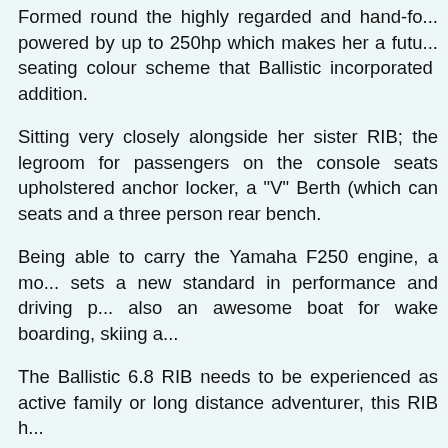Formed round the highly regarded and hand-fo... powered by up to 250hp which makes her a futu... seating colour scheme that Ballistic incorporated ... addition.
Sitting very closely alongside her sister RIB; the... legroom for passengers on the console seats... upholstered anchor locker, a "V" Berth (which can... seats and a three person rear bench.
Being able to carry the Yamaha F250 engine, a mo... sets a new standard in performance and driving p... also an awesome boat for wake boarding, skiing a...
The Ballistic 6.8 RIB needs to be experienced as... active family or long distance adventurer, this RIB h...
Standard Features:
· Neptune Grey and Charcoal Hypalon Tubes with C...